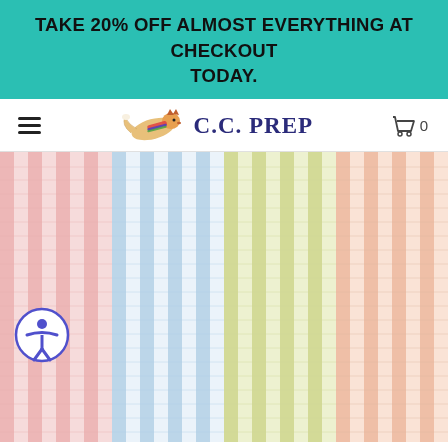TAKE 20% OFF ALMOST EVERYTHING AT CHECKOUT TODAY.
[Figure (logo): C.C. Prep logo with running fox and colorful scarf, alongside navigation hamburger menu and shopping cart icon showing 0 items]
[Figure (photo): Four rolls of seersucker fabric in pink, blue, yellow-green, and peach/coral colors with white stripes, displayed vertically]
Seersucker: Where Did it Come From? The History of Seersucker